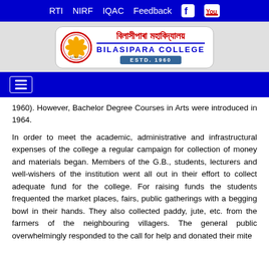RTI  NIRF  IQAC  Feedback
[Figure (logo): Bilasipara College logo with Assamese text and emblem, ESTD. 1960]
1960). However, Bachelor Degree Courses in Arts were introduced in 1964.
In order to meet the academic, administrative and infrastructural expenses of the college a regular campaign for collection of money and materials began. Members of the G.B., students, lecturers and well-wishers of the institution went all out in their effort to collect adequate fund for the college. For raising funds the students frequented the market places, fairs, public gatherings with a begging bowl in their hands. They also collected paddy, jute, etc. from the farmers of the neighbouring villagers. The general public overwhelmingly responded to the call for help and donated their mite